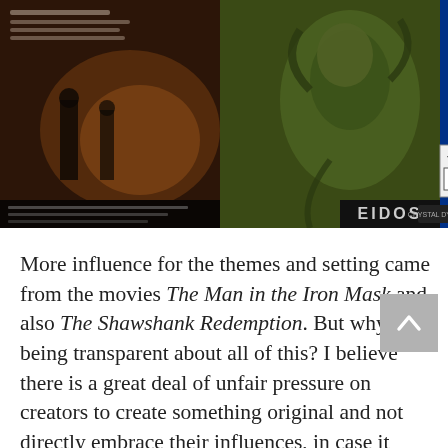[Figure (photo): Two side-by-side images: on the left, a movie poster for The Man in the Iron Mask with dark brownish tones and actor credits; on the right, a video game cover featuring a creature, with PlayStation branding, TEEN rating, and EIDOS logo.]
More influence for the themes and setting came from the movies The Man in the Iron Mask and also The Shawshank Redemption. But why am I being transparent about all of this? I believe there is a great deal of unfair pressure on creators to create something original and not directly embrace their influences, in case it makes them look less legitimate or credible. I think a creative culture which encourages the opposite would be much healthier and realistic, where